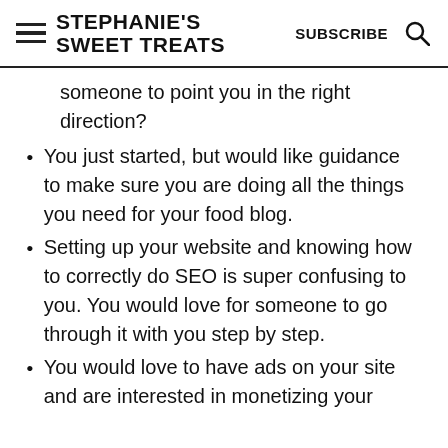STEPHANIE'S SWEET TREATS  SUBSCRIBE
someone to point you in the right direction?
You just started, but would like guidance to make sure you are doing all the things you need for your food blog.
Setting up your website and knowing how to correctly do SEO is super confusing to you. You would love for someone to go through it with you step by step.
You would love to have ads on your site and are interested in monetizing your